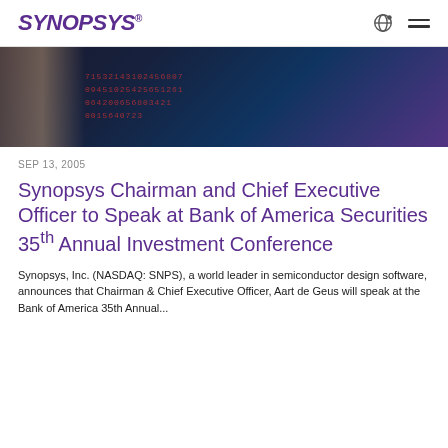SYNOPSYS®
[Figure (photo): Close-up photo of a hand holding a card with digital numbers/codes overlaid in red on a dark blue background, suggesting cybersecurity or digital finance theme.]
SEP 13, 2005
Synopsys Chairman and Chief Executive Officer to Speak at Bank of America Securities 35th Annual Investment Conference
Synopsys, Inc. (NASDAQ: SNPS), a world leader in semiconductor design software, announces that Chairman & Chief Executive Officer, Aart de Geus will speak at the Bank of America 35th Annual...